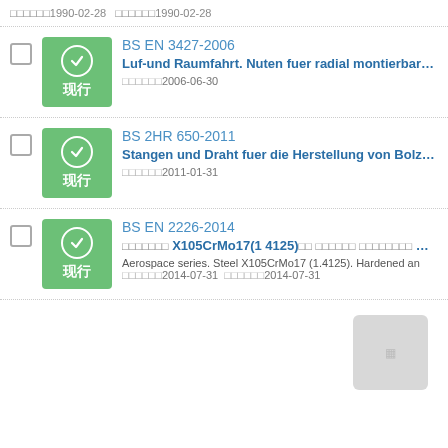发布日期1990-02-28  实施日期1990-02-28
BS EN 3427-2006 | Luf-und Raumfahrt. Nuten fuer radial montierbare Sicher... | 发布日期2006-06-30 | 现行
BS 2HR 650-2011 | Stangen und Draht fuer die Herstellung von Bolzen,Stifte... | 发布日期2011-01-31 | 现行
BS EN 2226-2014 | 航空航天系列 X105CrMo17(1 4125)钢棒 退火和校直 De≤150 mm | Aerospace series. Steel X105CrMo17 (1.4125). Hardened an... | 发布日期2014-07-31 实施日期2014-07-31 | 现行